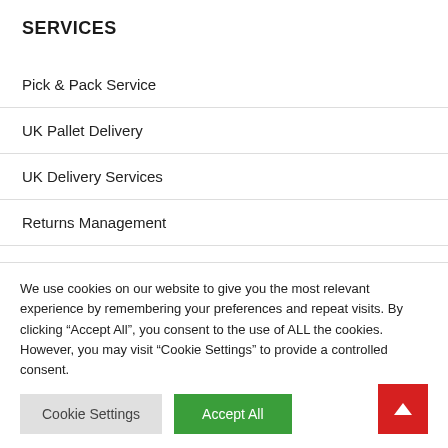SERVICES
Pick & Pack Service
UK Pallet Delivery
UK Delivery Services
Returns Management
Sameday Delivery
We use cookies on our website to give you the most relevant experience by remembering your preferences and repeat visits. By clicking “Accept All”, you consent to the use of ALL the cookies. However, you may visit “Cookie Settings” to provide a controlled consent.
Cookie Settings | Accept All